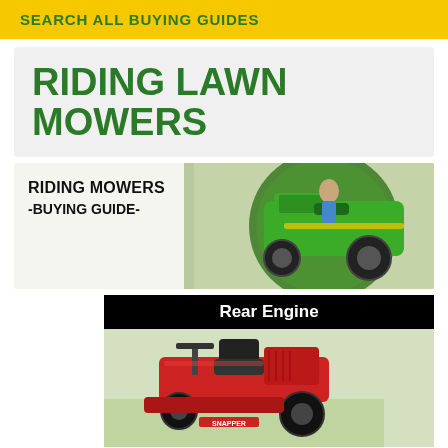SEARCH ALL BUYING GUIDES
RIDING LAWN MOWERS
[Figure (photo): Riding Mowers Buying Guide banner with a person riding a green John Deere lawn tractor, with green circular graphic element]
RIDING MOWERS -BUYING GUIDE-
[Figure (photo): Rear Engine section showing a red Snapper rear-engine riding mower on a grassy background]